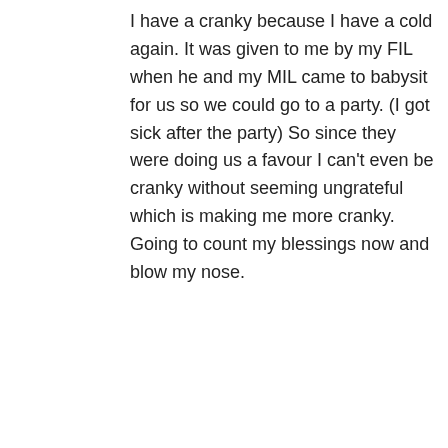I have a cranky because I have a cold again. It was given to me by my FIL when he and my MIL came to babysit for us so we could go to a party. (I got sick after the party) So since they were doing us a favour I can't even be cranky without seeming ungrateful which is making me more cranky. Going to count my blessings now and blow my nose.
Julie on 2010-10-26 at 12:42 AM
In some ways I wish there was an edit/delete button. Because sometimes I agonize over my response to a post, post it anyway… and then realise the language is a bit strong/not what I